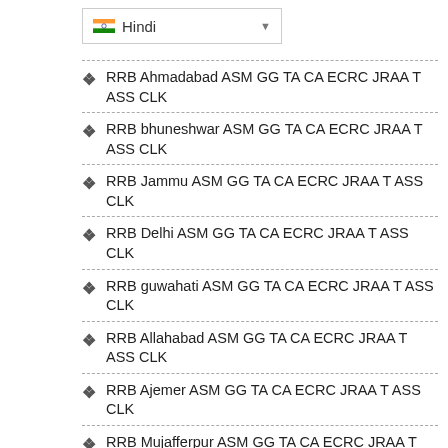[Figure (screenshot): Language selector dropdown showing Indian flag and 'Hindi' with dropdown arrow]
RRB Ahmadabad ASM GG TA CA ECRC JRAA T ASS CLK
RRB bhuneshwar ASM GG TA CA ECRC JRAA T ASS CLK
RRB Jammu ASM GG TA CA ECRC JRAA T ASS CLK
RRB Delhi ASM GG TA CA ECRC JRAA T ASS CLK
RRB guwahati ASM GG TA CA ECRC JRAA T ASS CLK
RRB Allahabad ASM GG TA CA ECRC JRAA T ASS CLK
RRB Ajemer ASM GG TA CA ECRC JRAA T ASS CLK
RRB Mujafferpur ASM GG TA CA ECRC JRAA T ASS CLK
RRB Mumbai ASM GG TA CA ECRC JRAA T ASS CLK